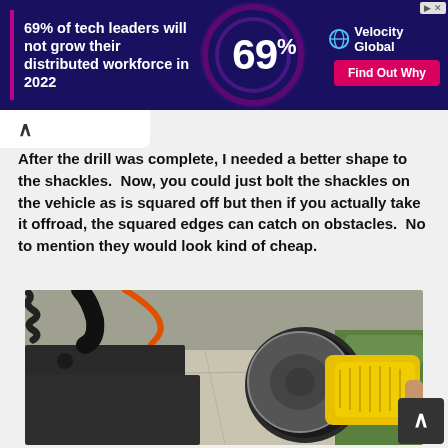[Figure (screenshot): Advertisement banner for Velocity Global: dark purple background with pink left bar, bold white text '69% of tech leaders will not grow their distributed workforce in 2022', large '69%' in center with circular graphic, Velocity Global logo and 'Find Out Why' button on right.]
After the drill was complete, I needed a better shape to the shackles.  Now, you could just bolt the shackles on the vehicle as is squared off but then if you actually take it offroad, the squared edges can catch on obstacles.  No to mention they would look kind of cheap.
[Figure (photo): Close-up photograph of a yellow angle grinder tool being used to grind or shape a dark metal shackle/bracket. The metal piece appears to be a black steel bracket with holes. Orange extension cord and green grass visible in background on concrete surface.]